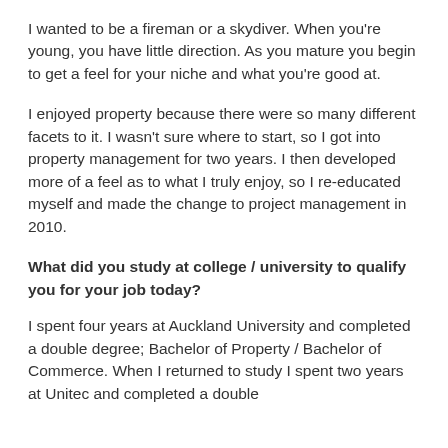I wanted to be a fireman or a skydiver. When you're young, you have little direction. As you mature you begin to get a feel for your niche and what you're good at.
I enjoyed property because there were so many different facets to it. I wasn't sure where to start, so I got into property management for two years. I then developed more of a feel as to what I truly enjoy, so I re-educated myself and made the change to project management in 2010.
What did you study at college / university to qualify you for your job today?
I spent four years at Auckland University and completed a double degree; Bachelor of Property / Bachelor of Commerce. When I returned to study I spent two years at Unitec and completed a double diploma; New Zealand Diploma in Construction...